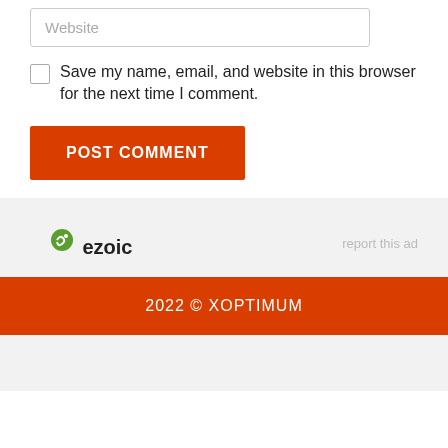Website
Save my name, email, and website in this browser for the next time I comment.
POST COMMENT
[Figure (logo): Ezoic logo with green circular icon and bold text 'ezoic']
report this ad
2022 © XOPTIMUM